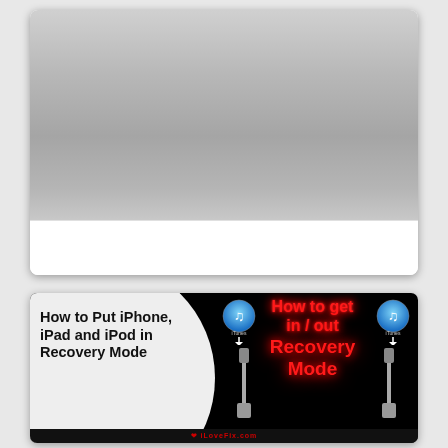[Figure (screenshot): Gray gradient rectangle representing the top portion of a UI card or video thumbnail placeholder]
[Figure (screenshot): Thumbnail image showing 'How to Put iPhone, iPad and iPod in Recovery Mode' on white circle over black background, with red glowing text 'How to get in / out Recovery Mode' and iTunes icons with USB cable graphics]